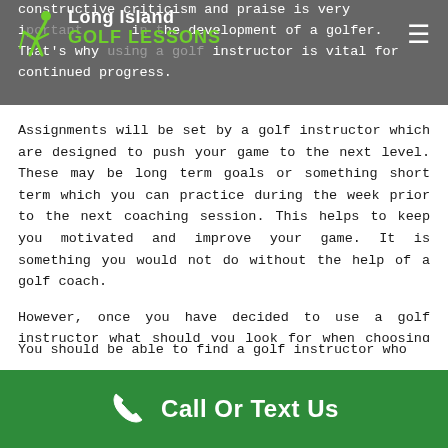Long Island GOLF LESSONS
constructive criticism and praise is very important in the development of a golfer. That's why using a golf instructor is vital for continued progress.
Assignments will be set by a golf instructor which are designed to push your game to the next level. These may be long term goals or something short term which you can practice during the week prior to the next coaching session. This helps to keep you motivated and improve your game. It is something you would not do without the help of a golf coach.
However, once you have decided to use a golf instructor what should you look for when choosing one?
Call Or Text Us